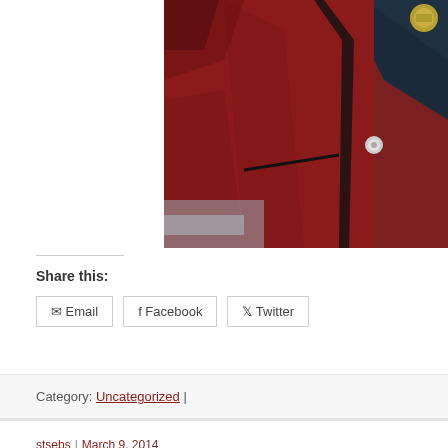[Figure (photo): Person wearing a dark red/maroon blazer with black trim and a silver button, with a dark jacket visible at the top right. The photo is cropped showing the torso area.]
Share this:
Email | Facebook | Twitter
Category: Uncategorized |
stsebs | March 9, 2014
Musical Director